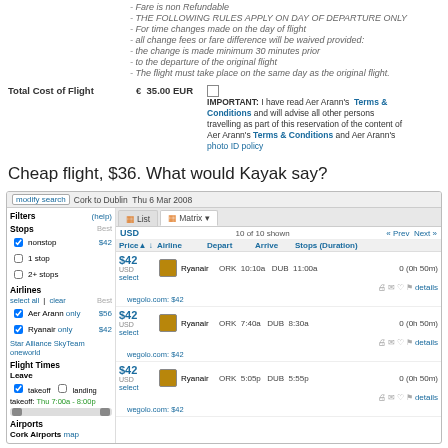- Fare is non Refundable
- THE FOLLOWING RULES APPLY ON DAY OF DEPARTURE ONLY
- For time changes made on the day of flight
- all change fees or fare difference will be waived provided:
- the change is made minimum 30 minutes prior
- to the departure of the original flight
- The flight must take place on the same day as the original flight.
Total Cost of Flight   €  35.00 EUR
IMPORTANT: I have read Aer Arann's Terms & Conditions and will advise all other persons travelling as part of this reservation of the content of Aer Arann's Terms & Conditions and Aer Arann's photo ID policy
Cheap flight, $36. What would Kayak say?
[Figure (screenshot): Kayak flight search widget showing Cork to Dublin Thu 6 Mar 2008 results with filters sidebar and three $42 Ryanair flights listed]